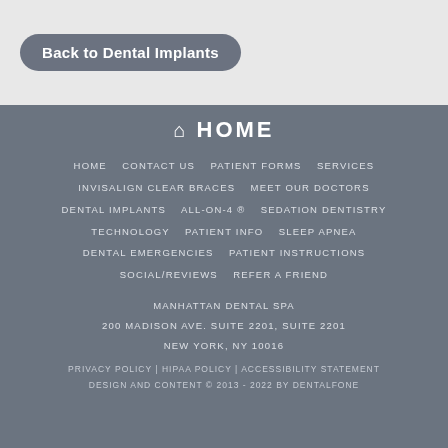Back to Dental Implants
HOME
HOME   CONTACT US   PATIENT FORMS   SERVICES
INVISALIGN CLEAR BRACES   MEET OUR DOCTORS
DENTAL IMPLANTS   ALL-ON-4 ®   SEDATION DENTISTRY
TECHNOLOGY   PATIENT INFO   SLEEP APNEA
DENTAL EMERGENCIES   PATIENT INSTRUCTIONS
SOCIAL/REVIEWS   REFER A FRIEND
MANHATTAN DENTAL SPA
200 MADISON AVE. SUITE 2201, SUITE 2201
NEW YORK, NY 10016
PRIVACY POLICY | HIPAA POLICY | ACCESSIBILITY STATEMENT
DESIGN AND CONTENT © 2013 - 2022 BY DENTALFONE